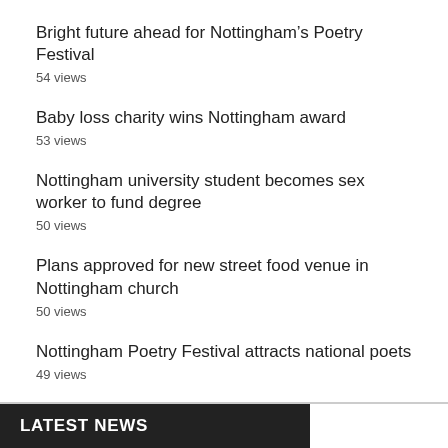Bright future ahead for Nottingham’s Poetry Festival
54 views
Baby loss charity wins Nottingham award
53 views
Nottingham university student becomes sex worker to fund degree
50 views
Plans approved for new street food venue in Nottingham church
50 views
Nottingham Poetry Festival attracts national poets
49 views
LATEST NEWS